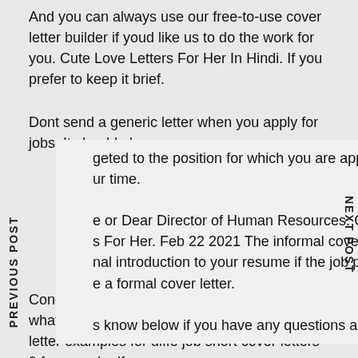And you can always use our free-to-use cover letter builder if youd like us to do the work for you. Cute Love Letters For Her In Hindi. If you prefer to keep it brief.
Dont send a generic letter when you apply for jobs. It should also geted to the position for which you are applying. Thank y ur time.
e or Dear Director of Human Resources. Cute Short Love s For Her. Feb 22 2021 The informal cover letter is an nal introduction to your resume if the job posting doesnt e a formal cover letter.
s know below if you have any questions and. To Whom It Concern. The 11 best cover letter examples what short cover letters 9 free word pdf cover letter examples for diffe job short cover letters 9 free word pdf.
Cover Letter Examples for Every Job Search. If youd rather use a different cover letter template choose one that speaks to you. A